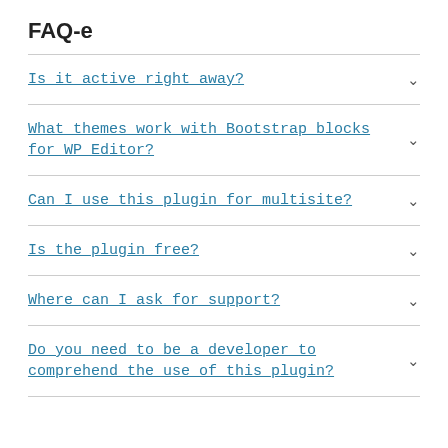FAQ-e
Is it active right away?
What themes work with Bootstrap blocks for WP Editor?
Can I use this plugin for multisite?
Is the plugin free?
Where can I ask for support?
Do you need to be a developer to comprehend the use of this plugin?